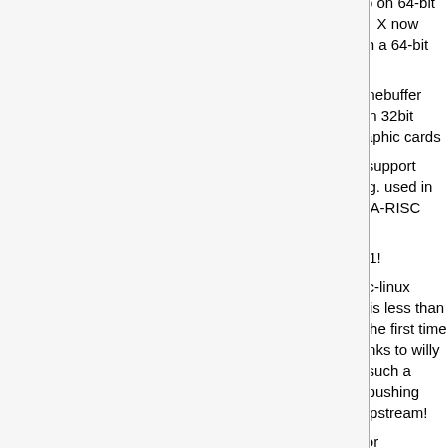Mar 2006 — Fixed stifb on 64-bit machines. X now works with a 64-bit kernel!
Dec 2005 — Fixed framebuffer console on 32bit HCRX graphic cards
Dec 2005 — PCMCIA support added (e.g. used in Tadpole PA-RISC laptops)
Jun 2005 — Debian 3.1!
Mar 2005 — The parisc-linux patch set is less than 200K for the first time ever! Thanks to willy for doing such a great job pushing patches upstream!
Jun 2004 — Support for PA8800/zx1 committed!
1998-2000 — How it started
How to install PARISC Linux
Debian Ports Installation
Gentoo Installation
PA-RISC FAQ